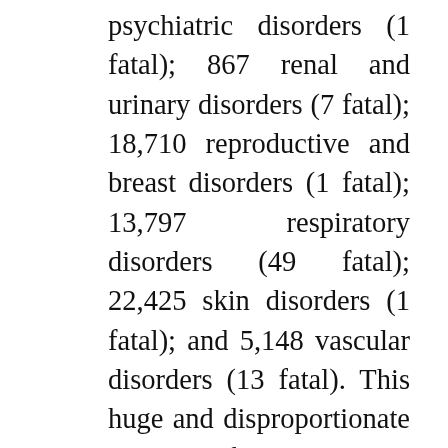psychiatric disorders (1 fatal); 867 renal and urinary disorders (7 fatal); 18,710 reproductive and breast disorders (1 fatal); 13,797 respiratory disorders (49 fatal); 22,425 skin disorders (1 fatal); and 5,148 vascular disorders (13 fatal). This huge and disproportionate number of adverse drug reactions, which itself represents between 10 per cent and 2 per cent of estimated ADRS, is completely inadequately represented by the consent form's dismissive reference to a sore arm, tiredness or a headache. Above all, it fails to make any mention of the greatly increased risk of myocarditis and pericarditis in